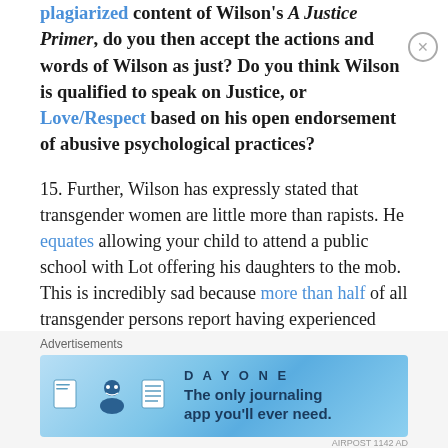plagiarized content of Wilson's A Justice Primer, do you then accept the actions and words of Wilson as just? Do you think Wilson is qualified to speak on Justice, or Love/Respect based on his open endorsement of abusive psychological practices?
15. Further, Wilson has expressly stated that transgender women are little more than rapists. He equates allowing your child to attend a public school with Lot offering his daughters to the mob. This is incredibly sad because more than half of all transgender persons report having experienced sexual assault in their lifetime. Not to mention the occurrence of so-called "corrective rape" where transgender persons are violently raped as a means of
[Figure (other): Advertisement for DAY ONE journaling app with blue gradient background, app icons, and text: 'The only journaling app you'll ever need.']